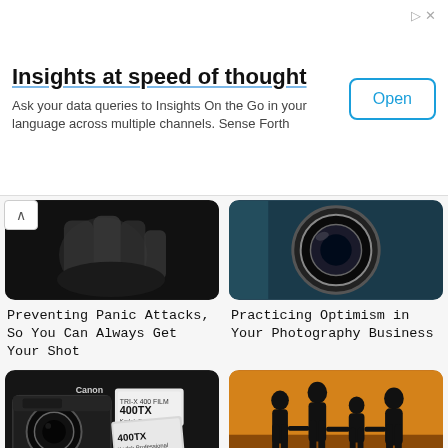[Figure (screenshot): Advertisement banner for 'Insights at speed of thought' by Sense Forth app with Open button]
[Figure (photo): Black and white photo of hands covering face]
[Figure (photo): Close-up of a camera lens]
Preventing Panic Attacks, So You Can Always Get Your Shot
Practicing Optimism in Your Photography Business
[Figure (photo): Black and white photo of Canon camera with Kodak 400TX film rolls]
[Figure (photo): Silhouette of family (parents and children) holding hands against orange sunset sky]
Lessening Paranoia Related to Being an Artist
Juggling Parenting and Your Work as a Photographer